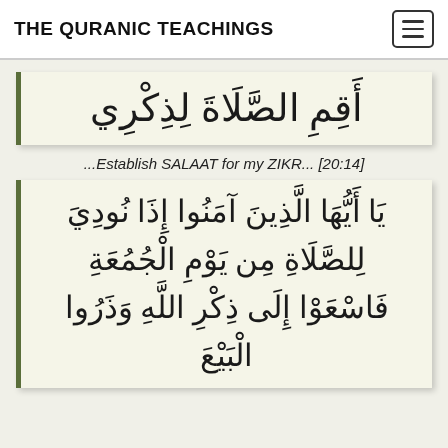THE QURANIC TEACHINGS
[Figure (illustration): First Arabic Quranic verse box with left green border: أَقِمِ الصَّلَاةَ لِذِكْرِي]
...Establish SALAAT for my ZIKR... [20:14]
[Figure (illustration): Second Arabic Quranic verse box with left green border: يَا أَيُّهَا الَّذِينَ آمَنُوا إِذَا نُودِيَ لِلصَّلَاةِ مِن يَوْمِ الْجُمُعَةِ فَاسْعَوْا إِلَى ذِكْرِ اللَّهِ وَذَرُوا الْبَيْعَ]